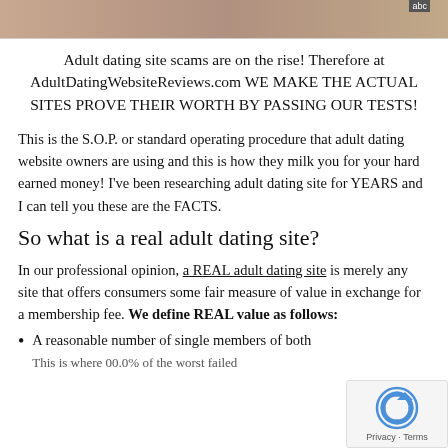[Figure (photo): Partial image strip at top of page, showing a blurred/cropped photo]
Adult dating site scams are on the rise! Therefore at AdultDatingWebsiteReviews.com WE MAKE THE ACTUAL SITES PROVE THEIR WORTH BY PASSING OUR TESTS!
This is the S.O.P. or standard operating procedure that adult dating website owners are using and this is how they milk you for your hard earned money! I've been researching adult dating site for YEARS and I can tell you these are the FACTS.
So what is a real adult dating site?
In our professional opinion, a REAL adult dating site is merely any site that offers consumers some fair measure of value in exchange for a membership fee. We define REAL value as follows:
A reasonable number of single members of both
[Figure (other): reCAPTCHA badge with Privacy and Terms text]